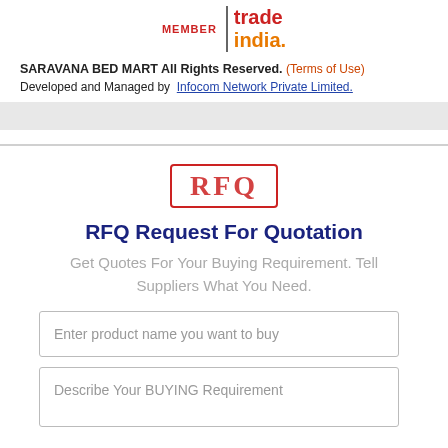[Figure (logo): Trade India MEMBER logo with red MEMBER text and Trade India branding]
SARAVANA BED MART All Rights Reserved. (Terms of Use)
Developed and Managed by  Infocom Network Private Limited.
RFQ Request For Quotation
Get Quotes For Your Buying Requirement. Tell Suppliers What You Need.
Enter product name you want to buy
Describe Your BUYING Requirement